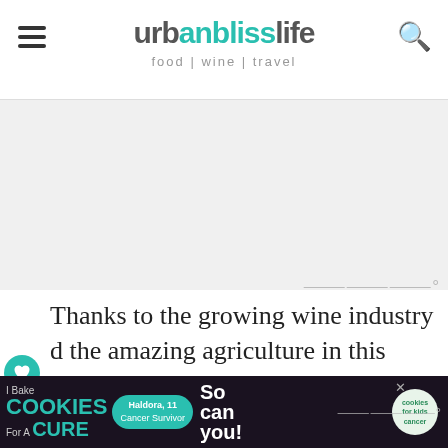urbanblisslife food | wine | travel
[Figure (other): Advertisement placeholder area (light gray background)]
Thanks to the growing wine industry and the amazing agriculture in this region, you can find similar farm to table types of dinner throughout the year. For instance, there's a
[Figure (other): Bottom banner advertisement: I Bake COOKIES For A CURE - Haldora, 11 Cancer Survivor - So can you! cookies for kids cancer]